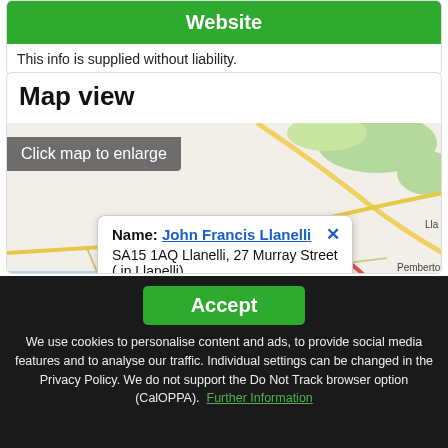Website
This info is supplied without liability.
Map view
[Figure (map): Map showing location of John Francis Llanelli at SA15 1AQ Llanelli, 27 Murray Street, with popup showing name and address. Map shows Swiss Valley, Felinfoel, Llanelli, Pemberton, Llwynhendy, Llwynwhylwyg, Seaside areas. Click map to enlarge overlay shown.]
Accept
We use cookies to personalise content and ads, to provide social media features and to analyse our traffic. Individual settings can be changed in the Privacy Policy. We do not support the Do Not Track browser option (CalOPPA). Further Information